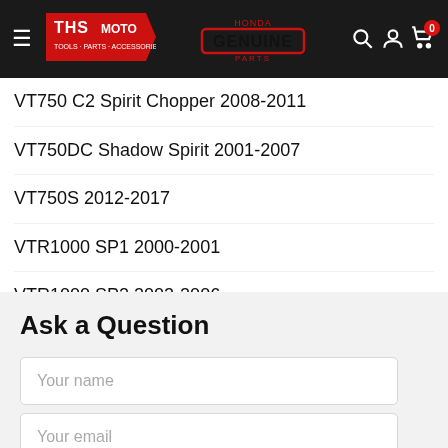[Figure (logo): THS Moto website header with THS MOTO logo, Honda Genuine Parts logo, search icon, account icon, and cart icon showing 0 items]
VT750 C2 Spirit Chopper 2008-2011
VT750DC Shadow Spirit 2001-2007
VT750S 2012-2017
VTR1000 SP1 2000-2001
VTR1000 SP2 2002-2006
VTR1000F FIRESTORM 1997-2005
Ask a Question
Your name
Your email